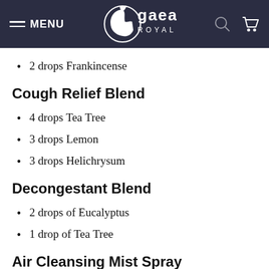MENU | Gaea Royals
2 drops Frankincense
Cough Relief Blend
4 drops Tea Tree
3 drops Lemon
3 drops Helichrysum
Decongestant Blend
2 drops of Eucalyptus
1 drop of Tea Tree
Air Cleansing Mist Spray
These natural sprays can fight viruses and bacteria in the air while also helping you breathe easier and making the air smell fresh and eliminating...